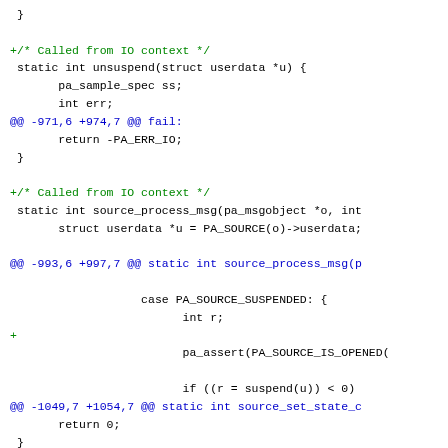Code diff showing changes to unsuspend, source_process_msg, source_set_state_c, and mixer_callback functions in a C source file.